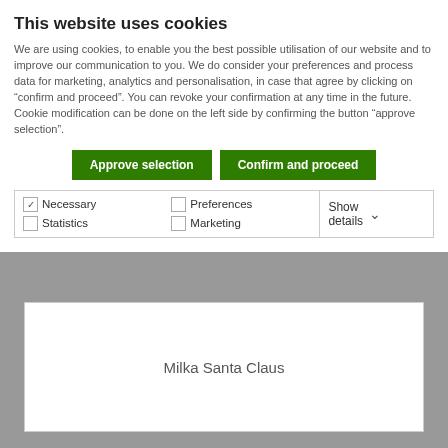This website uses cookies
We are using cookies, to enable you the best possible utilisation of our website and to improve our communication to you. We do consider your preferences and process data for marketing, analytics and personalisation, in case that agree by clicking on “confirm and proceed”. You can revoke your confirmation at any time in the future. Cookie modification can be done on the left side by confirming the button “approve selection”.
Approve selection | Confirm and proceed
| ☑ Necessary | ☐ Preferences | Show details ∨ |
| ☐ Statistics | ☐ Marketing |  |
Milka Santa Claus